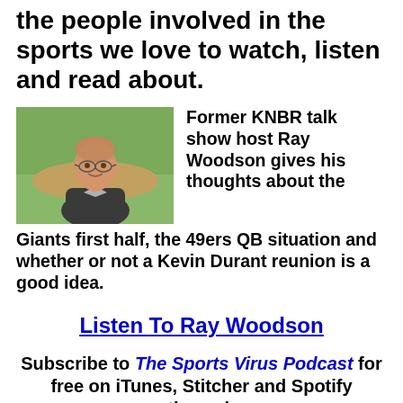the people involved in the sports we love to watch, listen and read about.
[Figure (photo): Photo of Ray Woodson, a smiling middle-aged man in a dark jacket, standing outdoors near a baseball field with green grass and dirt visible in the background.]
Former KNBR talk show host Ray Woodson gives his thoughts about the Giants first half, the 49ers QB situation and whether or not a Kevin Durant reunion is a good idea.
Listen To Ray Woodson
Subscribe to The Sports Virus Podcast for free on iTunes, Stitcher and Spotify through